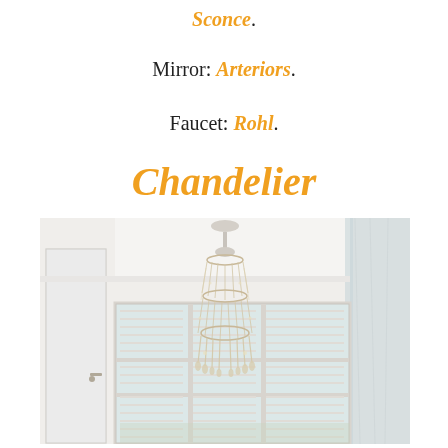Sconce.
Mirror: Arteriors.
Faucet: Rohl.
Chandelier
[Figure (photo): A crystal chandelier hanging from a white ceiling in a bright bathroom with white plantation shutters and marble wall panels visible on the right.]